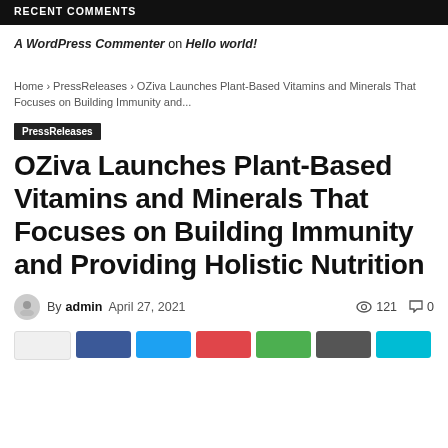RECENT COMMENTS
A WordPress Commenter on Hello world!
Home › PressReleases › OZiva Launches Plant-Based Vitamins and Minerals That Focuses on Building Immunity and...
PressReleases
OZiva Launches Plant-Based Vitamins and Minerals That Focuses on Building Immunity and Providing Holistic Nutrition
By admin  April 27, 2021  121 views  0 comments